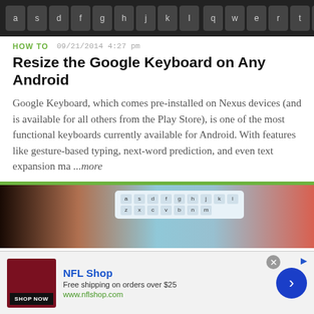[Figure (screenshot): Dark keyboard bar with keys a s d f g h j k l and q w e r t y u i o p on dark background]
HOW TO   09/21/2014 4:27 pm
Resize the Google Keyboard on Any Android
Google Keyboard, which comes pre-installed on Nexus devices (and is available for all others from the Play Store), is one of the most functional keyboards currently available for Android. With features like gesture-based typing, next-word prediction, and even text expansion ma ...more
[Figure (photo): Hand holding a smartphone showing a light blue keyboard on screen, with orange/red background]
HOW TO   06/23/2017 1:02 am
Quickly Switch Between Alphabet & Numeric Keyboards on Your iPhone
[Figure (screenshot): NFL Shop advertisement: NFL Shop logo, Free shipping on orders over $25, www.nflshop.com, SHOP NOW button, blue arrow button]